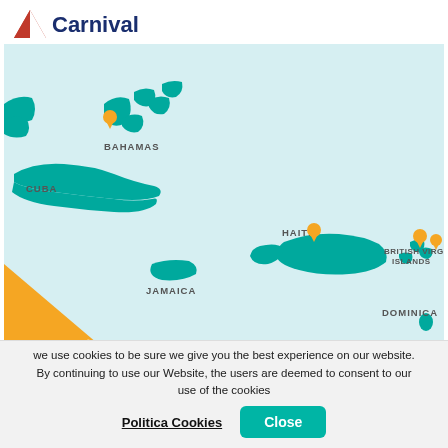[Figure (logo): Carnival cruise line logo — red/white triangular sail icon with 'Carnival' text in dark blue]
[Figure (map): Caribbean Sea map showing teal landmasses: Cuba, Bahamas, Jamaica, Haiti, British Virgin Islands, Dominica, Barbados, Curaçao. Orange location pins on Bahamas, Haiti, and British Virgin Islands. Orange triangle banner bottom-left reads 'Save up to 17%'. Text labels: BAHAMAS, CUBA, JAMAICA, HAITI, BRITISH VIRGIN ISLANDS, DOMINICA, BARBADOS, CURAÇAO, Caribbean Sea. Attribution: © Stadia Maps, © OpenMapTiles, © OpenStreetMap]
we use cookies to be sure we give you the best experience on our website. By continuing to use our Website, the users are deemed to consent to our use of the cookies
Politica Cookies
Close